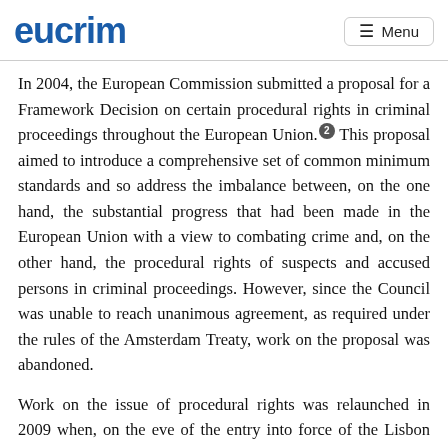eucrim   Menu
In 2004, the European Commission submitted a proposal for a Framework Decision on certain procedural rights in criminal proceedings throughout the European Union.[2] This proposal aimed to introduce a comprehensive set of common minimum standards and so address the imbalance between, on the one hand, the substantial progress that had been made in the European Union with a view to combating crime and, on the other hand, the procedural rights of suspects and accused persons in criminal proceedings. However, since the Council was unable to reach unanimous agreement, as required under the rules of the Amsterdam Treaty, work on the proposal was abandoned.
Work on the issue of procedural rights was relaunched in 2009 when, on the eve of the entry into force of the Lisbon Treaty, the Council adopted a roadmap for strengthening the procedural rights of suspects and accused persons in criminal proceedings.[3] In contrast to the 2004 Commission proposal, which aimed at...